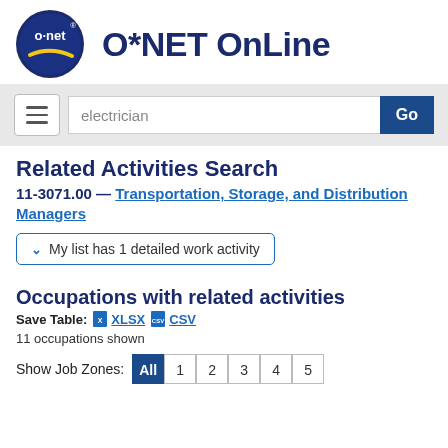[Figure (logo): O*NET Online logo — circular blue badge with o-net text and yellow swoosh, followed by O*NET OnLine text in dark navy blue]
electrician
Related Activities Search
11-3071.00 — Transportation, Storage, and Distribution Managers
My list has 1 detailed work activity
Occupations with related activities
Save Table: XLSX CSV
11 occupations shown
Show Job Zones: All 1 2 3 4 5